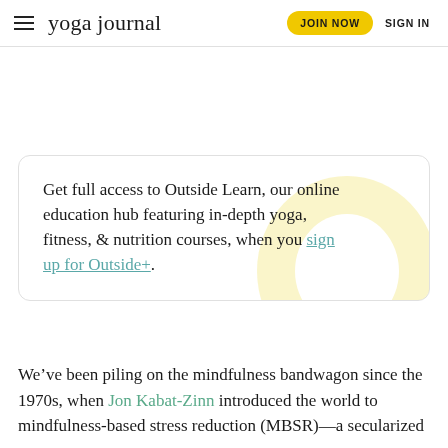yoga journal | JOIN NOW  SIGN IN
Get full access to Outside Learn, our online education hub featuring in-depth yoga, fitness, & nutrition courses, when you sign up for Outside+.
We’ve been piling on the mindfulness bandwagon since the 1970s, when Jon Kabat-Zinn introduced the world to mindfulness-based stress reduction (MBSR)—a secularized